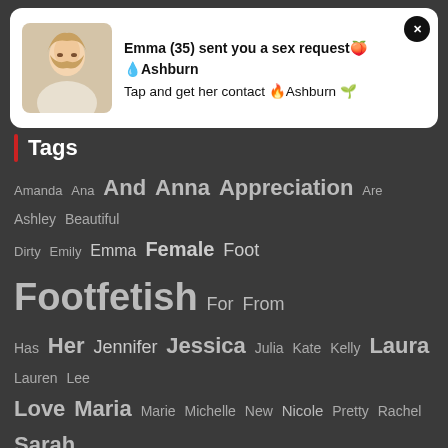[Figure (photo): Ad card with photo of blonde woman, notification about Emma (35) sex request in Ashburn]
Emma (35) sent you a sex request🍑 💧Ashburn
Tap and get her contact 🔥Ashburn 🌱
Tags
Amanda Ana And Anna Appreciation Are Ashley Beautiful Dirty Emily Emma Female Foot Footfetish For From Has Her Jennifer Jessica Julia Kate Kelly Laura Lauren Lee Love Maria Marie Michelle New Nicole Pretty Rachel Sarah Sexy Sole Soles Taylor The Toes Vanessa Victoria
[Figure (photo): Ad card with photo, notification about Kim (20) in Ashburn sex date]
Kim (20) 😍 Ashburn
Sex Date is 5 min 🍓🔥 Start Chatting